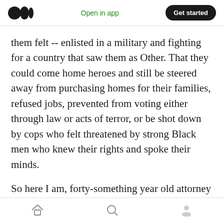Medium logo | Open in app | Get started
them felt -- enlisted in a military and fighting for a country that saw them as Other. That they could come home heroes and still be steered away from purchasing homes for their families, refused jobs, prevented from voting either through law or acts of terror, or be shot down by cops who felt threatened by strong Black men who knew their rights and spoke their minds.
So here I am, forty-something year old attorney me, reaching back to 4 year old, aspiring
Home | Search | Profile